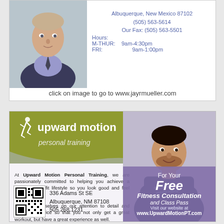[Figure (photo): Portrait of a man in a suit and tie, professional headshot, against a light background]
Albuquerque, New Mexico 87102
(505) 563-5614
Our Fax: (505) 563-5501
Hours:
M-THUR:  9am-4:30pm
FRI:         9am-1:00pm
click on image to go to www.jayrmueller.com
[Figure (logo): Upward Motion Personal Training logo with stylized figure icon, olive green background header, and trainer photo on right]
At Upward Motion Personal Training, we are passionately committed to helping you achieve a healthier and fit lifestyle so you look good and feel great.

We pride ourselves on our attention to detail and customer service so that you not only get a great workout, but have a great experience as well.
Luis Alivdrez
[Figure (photo): QR code for Upward Motion Personal Training]
336 Adams St SE
Albuquerque, NM 87108
505.268.1231
For Your Free Fitness Consultation and Class Pass Visit our website at www.UpwardMotionPT.com